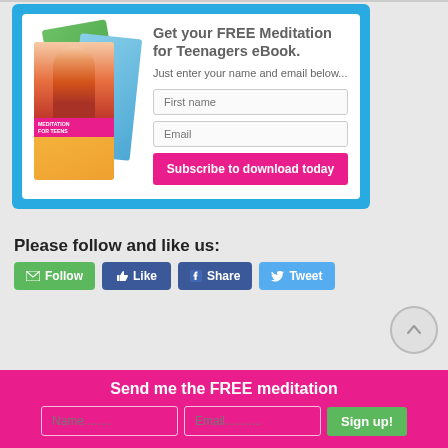[Figure (illustration): Blue-bordered white card with stacked book covers (meditation for teenagers ebook) on the left, and a signup form on the right with First name field, Email field, and a pink Subscribe to download today button. Heading: Get your FREE Meditation for Teenagers eBook. Just enter your name and email below...]
Please follow and like us:
[Figure (screenshot): Social sharing buttons: green Follow button with envelope icon, blue Like button with thumbs up, blue Share button with Facebook icon, blue Tweet button with Twitter bird icon]
[Figure (other): Gray circular scroll-to-top button with upward arrow]
Send me the FREE meditation
[Figure (screenshot): Pink footer bar with Name and Email input fields and a green Sign up! button]